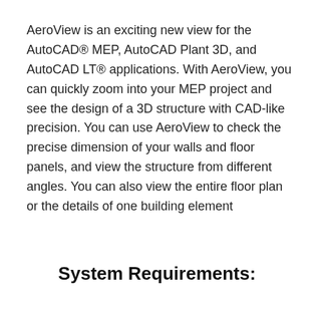AeroView is an exciting new view for the AutoCAD® MEP, AutoCAD Plant 3D, and AutoCAD LT® applications. With AeroView, you can quickly zoom into your MEP project and see the design of a 3D structure with CAD-like precision. You can use AeroView to check the precise dimension of your walls and floor panels, and view the structure from different angles. You can also view the entire floor plan or the details of one building element
System Requirements: